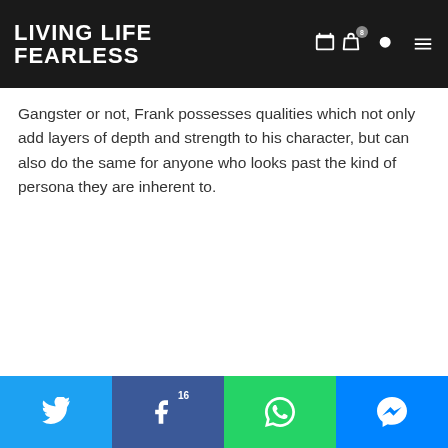LIVING LIFE FEARLESS
Gangster or not, Frank possesses qualities which not only add layers of depth and strength to his character, but can also do the same for anyone who looks past the kind of persona they are inherent to.
[Figure (infographic): Amazon forest conservation advertisement: Just $2 can protect 1 acre of irreplaceable forest homes in the Amazon. How many acres will you protect? PROTECT FORESTS NOW]
Twitter share | Facebook share 16 | WhatsApp share | Messenger share